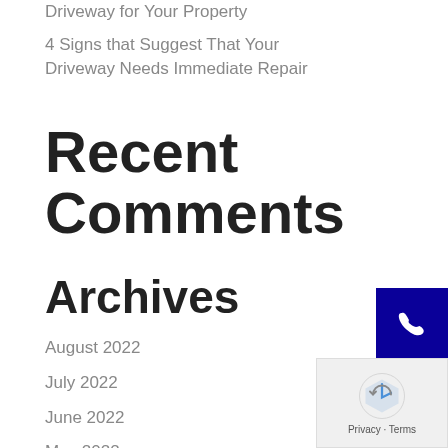Driveway for Your Property
4 Signs that Suggest That Your Driveway Needs Immediate Repair
Recent Comments
Archives
August 2022
July 2022
June 2022
May 2022